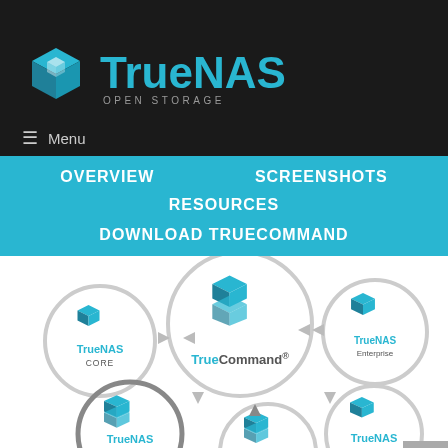[Figure (logo): TrueNAS Open Storage logo with blue cube icon and text]
≡  Menu
OVERVIEW
SCREENSHOTS
RESOURCES
DOWNLOAD TRUECOMMAND
[Figure (infographic): TrueCommand hub-and-spoke diagram showing TrueNAS CORE, TrueCommand, TrueNAS Enterprise, TrueNAS SCALE (x2), and TrueNAS Enterprise connected with circular arrows]